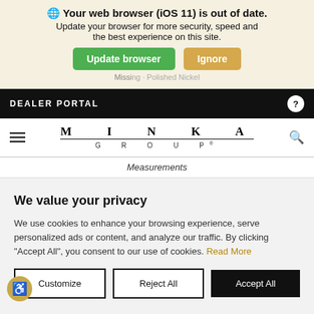[Figure (screenshot): Browser update notification banner with iOS 11 warning icon, headline 'Your web browser (iOS 11) is out of date.', subtext 'Update your browser for more security, speed and the best experience on this site.', green 'Update browser' button and tan 'Ignore' button]
DEALER PORTAL
[Figure (logo): Minka Group logo with stylized spaced letters MINKA on top line and GROUP on bottom line, with hamburger menu and search icon]
Measurements
We value your privacy
We use cookies to enhance your browsing experience, serve personalized ads or content, and analyze our traffic. By clicking "Accept All", you consent to our use of cookies. Read More